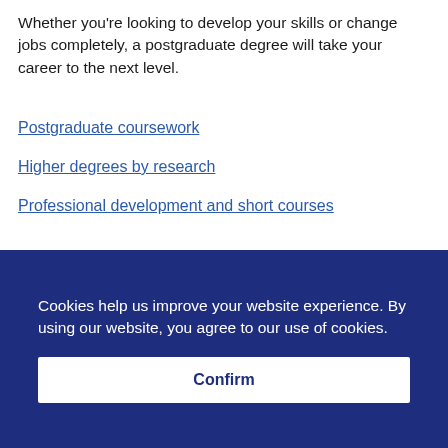Whether you're looking to develop your skills or change jobs completely, a postgraduate degree will take your career to the next level.
Postgraduate coursework
Higher degrees by research
Professional development and short courses
[Figure (photo): A person studying outdoors near columns and a plant]
Cookies help us improve your website experience. By using our website, you agree to our use of cookies.
Confirm